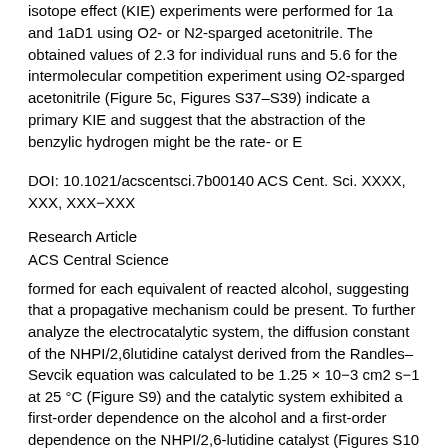isotope effect (KIE) experiments were performed for 1a and 1aD1 using O2- or N2-sparged acetonitrile. The obtained values of 2.3 for individual runs and 5.6 for the intermolecular competition experiment using O2-sparged acetonitrile (Figure 5c, Figures S37–S39) indicate a primary KIE and suggest that the abstraction of the benzylic hydrogen might be the rate- or E
DOI: 10.1021/acscentsci.7b00140 ACS Cent. Sci. XXXX, XXX, XXX−XXX
Research Article
ACS Central Science
formed for each equivalent of reacted alcohol, suggesting that a propagative mechanism could be present. To further analyze the electrocatalytic system, the diffusion constant of the NHPI/2,6lutidine catalyst derived from the Randles–Sevcik equation was calculated to be 1.25 × 10−3 cm2 s−1 at 25 °C (Figure S9) and the catalytic system exhibited a first-order dependence on the alcohol and a first-order dependence on the NHPI/2,6-lutidine catalyst (Figures S10 and S11) with an observed rate constant of 0.011 s−1 (v = kobsCNHPI/lutidine where kobs = kC01a) (Figure 5d).